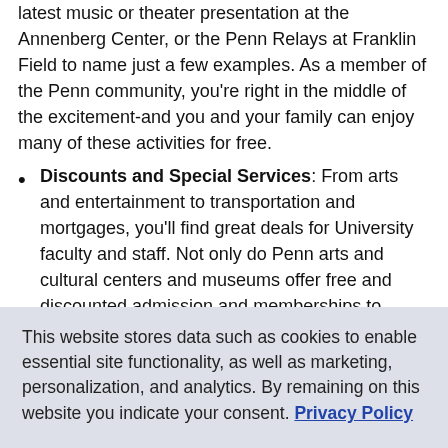latest music or theater presentation at the Annenberg Center, or the Penn Relays at Franklin Field to name just a few examples. As a member of the Penn community, you're right in the middle of the excitement-and you and your family can enjoy many of these activities for free.
Discounts and Special Services: From arts and entertainment to transportation and mortgages, you'll find great deals for University faculty and staff. Not only do Penn arts and cultural centers and museums offer free and discounted admission and memberships to faculty and staff. You can also enjoy substantial savings on other goods and services such as new cars from Ford and General Motors, cellular phone service plans, movie tickets, and admission to theme parks
This website stores data such as cookies to enable essential site functionality, as well as marketing, personalization, and analytics. By remaining on this website you indicate your consent. Privacy Policy